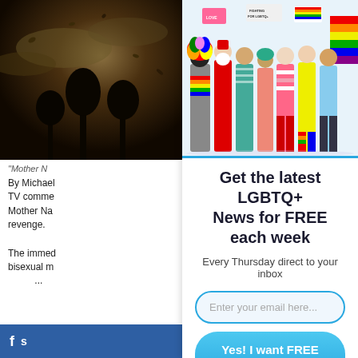[Figure (photo): Left background: dark stormy sky with trees and swirling leaves/debris]
[Figure (photo): Group of diverse people in colorful LGBTQ+ pride outfits holding signs and rainbow flags, jumping and celebrating]
"Mother N
By Michael
TV comme...
Mother Na...
revenge.
The immed...
bisexual m...
Get the latest LGBTQ+ News for FREE each week
Every Thursday direct to your inbox
Enter your email here...
Yes! I want FREE LGBTQ News
f  S